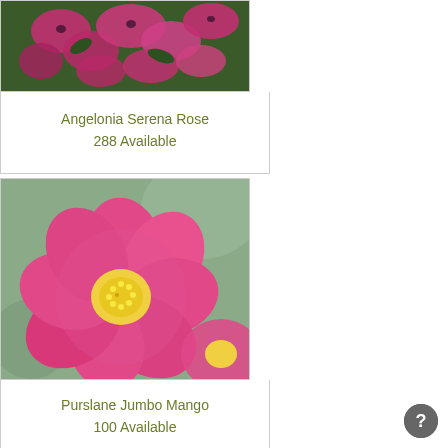[Figure (photo): Close-up photo of pink Angelonia Serena Rose flowers with green foliage background]
Angelonia Serena Rose
288 Available
[Figure (photo): Close-up photo of a pink Purslane Jumbo Mango flower with yellow center, blurred green background]
Purslane Jumbo Mango
100 Available